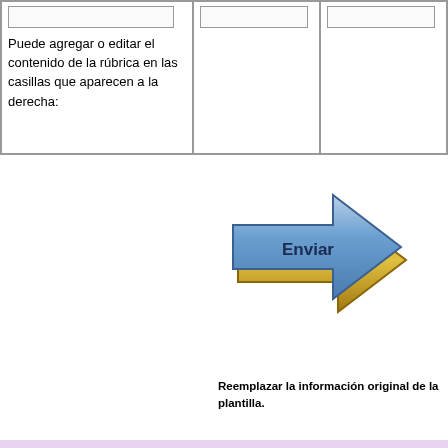| [input box]
Puede agregar o editar el contenido de la rúbrica en las casillas que aparecen a la derecha: | [empty cell] | [empty cell] |
[Figure (illustration): A blue and gold arrow-shaped button pointing right with the text 'Enviar' in bold dark text, styled as a 3D beveled arrow graphic]
Reemplazar la información original de la plantilla.
4teachers | QuizStar | TrackStar | NoteStar | Profiler Pro | Más herramientas | Derechos de autor. © 2000-2008, ALTEC at the University of Kansas